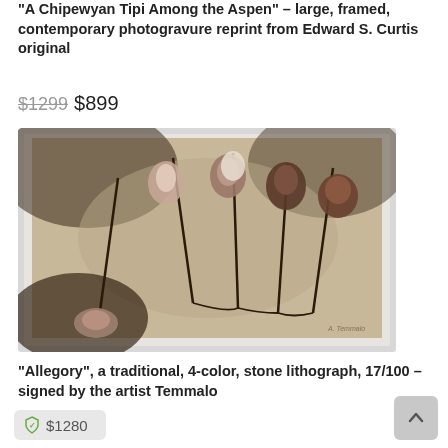“A Chipewyan Tipi Among the Aspen” – large, framed, contemporary photogravure reprint from Edward S. Curtis original
$1299 $899
[Figure (photo): Framed photographic print of dried roses with stems lying on a light background, displayed in a white frame.]
“Allegory”, a traditional, 4-color, stone lithograph, 17/100 – signed by the artist Temmalo
$1280